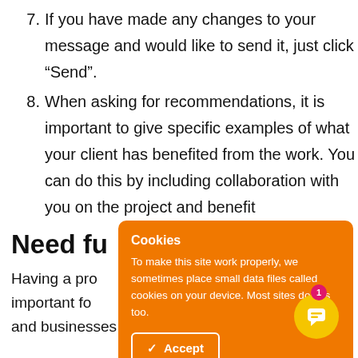7. If you have made any changes to your message and would like to send it, just click “Send”.
8. When asking for recommendations, it is important to give specific examples of what your client has benefited from the work. You can do this by including collaboration with you on the project and benefit...
Need fur...
Having a pro... important fo... and businesses in general. A good LinkedIn
[Figure (screenshot): Orange cookie consent overlay with title 'Cookies', body text 'To make this site work properly, we sometimes place small data files called cookies on your device. Most sites do this too.', and an Accept button. A yellow circular chat button with a speech bubble icon and a pink notification badge showing '1' is visible overlapping the overlay.]